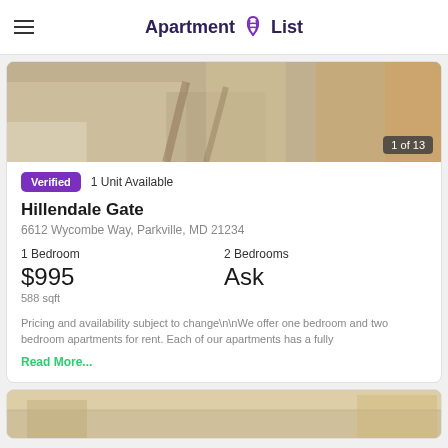Apartment List
[Figure (photo): Interior photo of an apartment showing a dining area with a glass table and chairs, warm lighting, counter top visible — badge '1 of 13' overlay in bottom right]
Verified   1 Unit Available
Hillendale Gate
6612 Wycombe Way, Parkville, MD 21234
1 Bedroom
$995
588 sqft
2 Bedrooms
Ask
Pricing and availability subject to change\n\nWe offer one bedroom and two bedroom apartments for rent. Each of our apartments has a fully Read More...
[Figure (photo): Partial interior photo of a second apartment listing showing ceiling and wall area with warm tones]